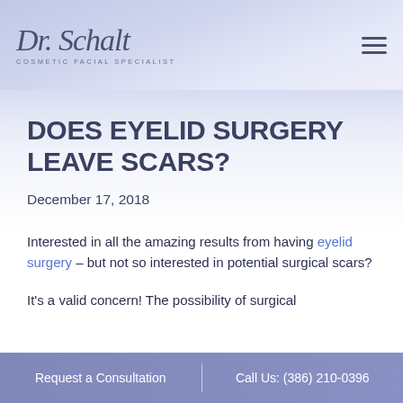Dr. Schalt — Cosmetic Facial Specialist
DOES EYELID SURGERY LEAVE SCARS?
December 17, 2018
Interested in all the amazing results from having eyelid surgery – but not so interested in potential surgical scars?
It's a valid concern! The possibility of surgical
Request a Consultation | Call Us: (386) 210-0396